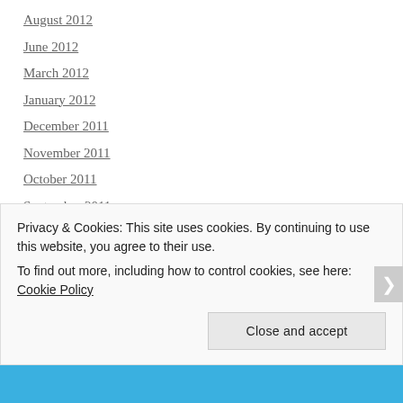August 2012
June 2012
March 2012
January 2012
December 2011
November 2011
October 2011
September 2011
July 2011
April 2011
March 2011
February 2011
Privacy & Cookies: This site uses cookies. By continuing to use this website, you agree to their use.
To find out more, including how to control cookies, see here: Cookie Policy
Close and accept